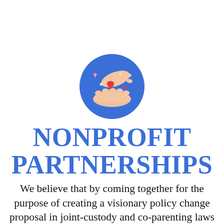[Figure (illustration): A circular blue icon showing two hands exchanging or holding red hearts, with pink heart accents and sparkles, representing nonprofit partnership and care.]
NONPROFIT PARTNERSHIPS
We believe that by coming together for the purpose of creating a visionary policy change proposal in joint-custody and co-parenting laws by default. Grounded in the personal experience of those directly